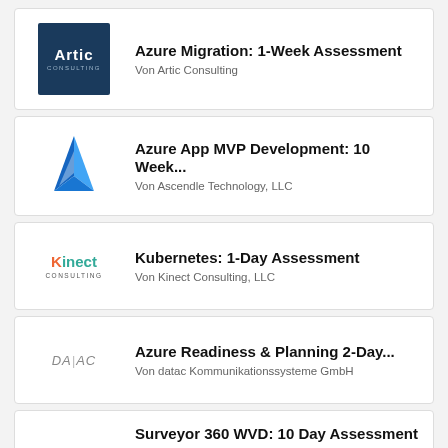Azure Migration: 1-Week Assessment
Von Artic Consulting
Azure App MVP Development: 10 Week...
Von Ascendle Technology, LLC
Kubernetes: 1-Day Assessment
Von Kinect Consulting, LLC
Azure Readiness & Planning 2-Day...
Von datac Kommunikationssysteme GmbH
Surveyor 360 WVD: 10 Day Assessment